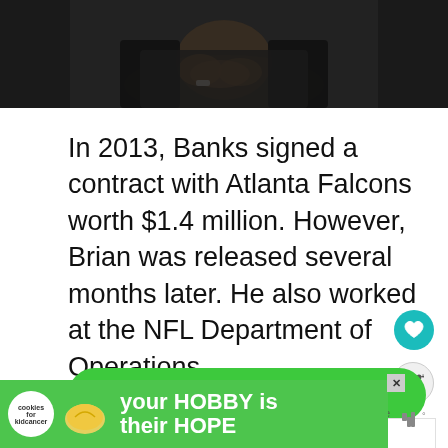[Figure (photo): Cropped photo of a person (appears to be Brian Banks) with hands clasped, wearing dark clothing, bottom portion of photo visible]
In 2013, Banks signed a contract with Atlanta Falcons worth $1.4 million. However, Brian was released several months later. He also worked at the NFL Department of Operations.
[Figure (screenshot): NEXT button (green rounded rectangle with arrow), heart icon button (teal circle), share icon button, 'on Newz Online' label, WHAT'S NEXT panel with FaZe Banks Net Worth... thumbnail]
[Figure (screenshot): Advertisement banner: cookies for kidcancer, 'your HOBBY is their HOPE' text on green background, with X close button and speaker/mute icon]